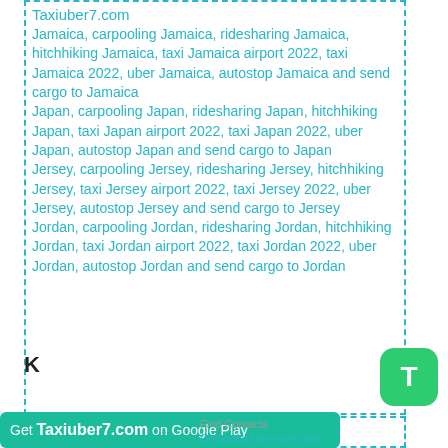Taxiuber7.com
Jamaica, carpooling Jamaica, ridesharing Jamaica, hitchhiking Jamaica, taxi Jamaica airport 2022, taxi Jamaica 2022, uber Jamaica, autostop Jamaica and send cargo to Jamaica
Japan, carpooling Japan, ridesharing Japan, hitchhiking Japan, taxi Japan airport 2022, taxi Japan 2022, uber Japan, autostop Japan and send cargo to Japan
Jersey, carpooling Jersey, ridesharing Jersey, hitchhiking Jersey, taxi Jersey airport 2022, taxi Jersey 2022, uber Jersey, autostop Jersey and send cargo to Jersey
Jordan, carpooling Jordan, ridesharing Jordan, hitchhiking Jordan, taxi Jordan airport 2022, taxi Jordan 2022, uber Jordan, autostop Jordan and send cargo to Jordan
K
Get Taxiuber7.com on Google Play